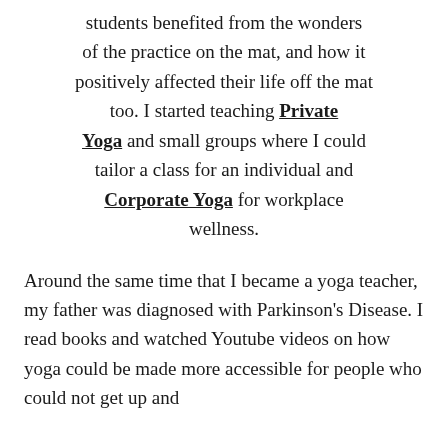students benefited from the wonders of the practice on the mat, and how it positively affected their life off the mat too. I started teaching Private Yoga and small groups where I could tailor a class for an individual and Corporate Yoga for workplace wellness.
Around the same time that I became a yoga teacher, my father was diagnosed with Parkinson's Disease. I read books and watched Youtube videos on how yoga could be made more accessible for people who could not get up and